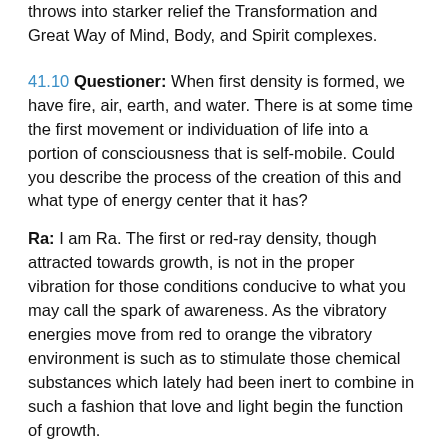throws into starker relief the Transformation and Great Way of Mind, Body, and Spirit complexes.
41.10 Questioner: When first density is formed, we have fire, air, earth, and water. There is at some time the first movement or individuation of life into a portion of consciousness that is self-mobile. Could you describe the process of the creation of this and what type of energy center that it has?
Ra: I am Ra. The first or red-ray density, though attracted towards growth, is not in the proper vibration for those conditions conducive to what you may call the spark of awareness. As the vibratory energies move from red to orange the vibratory environment is such as to stimulate those chemical substances which lately had been inert to combine in such a fashion that love and light begin the function of growth.
The supposition which you had earlier made